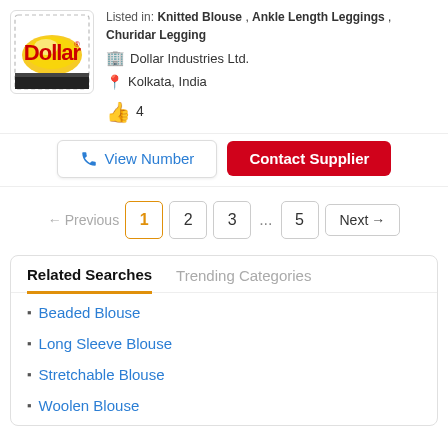[Figure (logo): Dollar Industries Ltd. logo - red Dollar text with gold/yellow ellipse on white background]
Listed in: Knitted Blouse , Ankle Length Leggings , Churidar Legging
Dollar Industries Ltd.
Kolkata, India
👍 4
View Number
Contact Supplier
← Previous  1  2  3  ...  5  Next →
Related Searches
Trending Categories
Beaded Blouse
Long Sleeve Blouse
Stretchable Blouse
Woolen Blouse